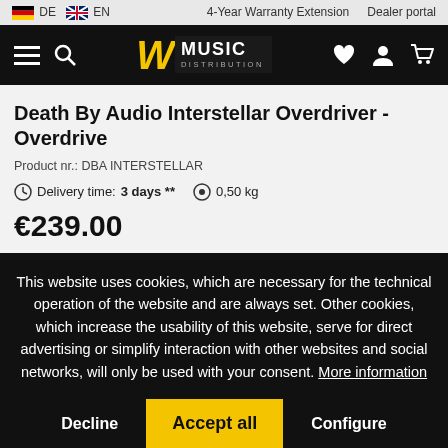DE  EN    4-Year Warranty Extension    Dealer portal
[Figure (logo): W Music Distribution logo on black navigation bar with hamburger menu, search icon, heart, user, and cart icons]
Death By Audio Interstellar Overdriver - Overdrive
Product nr.: DBA INTERSTELLAR
Delivery time: 3 days **    0,50 kg
€239.00
This website uses cookies, which are necessary for the technical operation of the website and are always set. Other cookies, which increase the usability of this website, serve for direct advertising or simplify interaction with other websites and social networks, will only be used with your consent. More information
Decline    Accept all    Configure